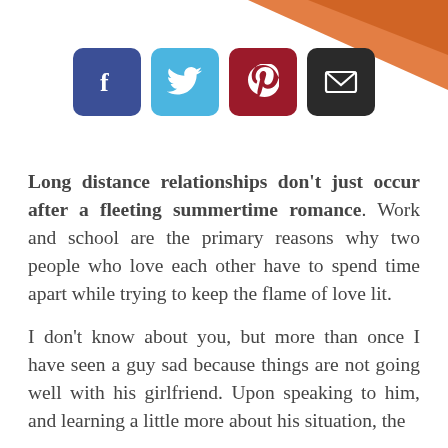[Figure (infographic): Orange diagonal decorative stripe in top-right corner]
[Figure (infographic): Row of four social media icon buttons: Facebook (dark blue), Twitter (light blue), Pinterest (dark red), Email (dark gray)]
Long distance relationships don't just occur after a fleeting summertime romance. Work and school are the primary reasons why two people who love each other have to spend time apart while trying to keep the flame of love lit.
I don't know about you, but more than once I have seen a guy sad because things are not going well with his girlfriend. Upon speaking to him, and learning a little more about his situation, the